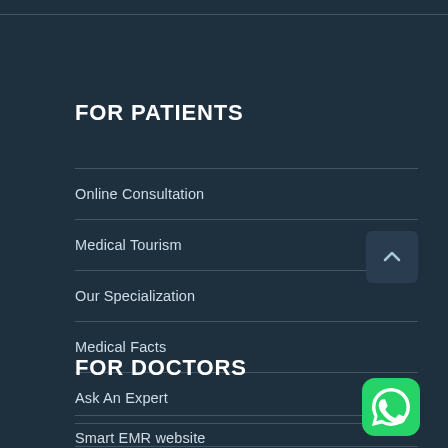FOR PATIENTS
Online Consultation
Medical Tourism
Our Specialization
Medical Facts
Ask An Expert
FOR DOCTORS
Smart EMR website